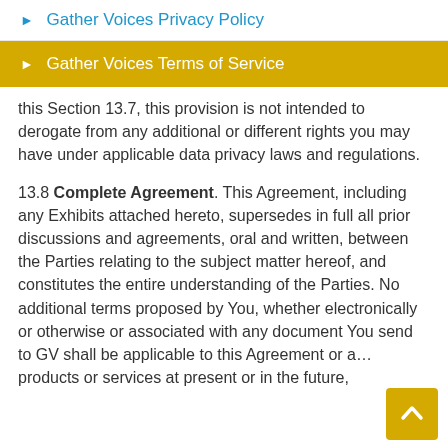Gather Voices Privacy Policy
Gather Voices Terms of Service
this Section 13.7, this provision is not intended to derogate from any additional or different rights you may have under applicable data privacy laws and regulations.
13.8 Complete Agreement. This Agreement, including any Exhibits attached hereto, supersedes in full all prior discussions and agreements, oral and written, between the Parties relating to the subject matter hereof, and constitutes the entire understanding of the Parties. No additional terms proposed by You, whether electronically or otherwise or associated with any document You send to GV shall be applicable to this Agreement or any products or services at present or in the future,